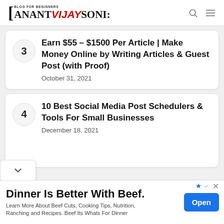ANANT VIJAY SONI — Blog for Beginners
3 — Earn $55 – $1500 Per Article | Make Money Online by Writing Articles & Guest Post (with Proof) — October 31, 2021
4 — 10 Best Social Media Post Schedulers & Tools For Small Businesses — December 18, 2021
[Figure (screenshot): Ad banner: Dinner Is Better With Beef. Learn More About Beef Cuts, Cooking Tips, Nutrition, Ranching and Recipes. Beef Its Whats For Dinner. Open button.]